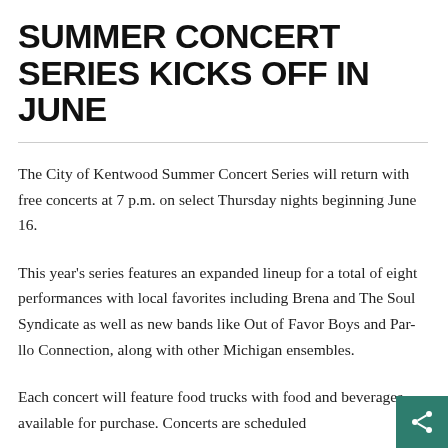SUMMER CONCERT SERIES KICKS OFF IN JUNE
The City of Kentwood Summer Concert Series will return with free concerts at 7 p.m. on select Thursday nights beginning June 16.
This year's series features an expanded lineup for a total of eight performances with local favorites including Brena and The Soul Syndicate as well as new bands like Out of Favor Boys and Par-llo Connection, along with other Michigan ensembles.
Each concert will feature food trucks with food and beverages available for purchase. Concerts are scheduled...